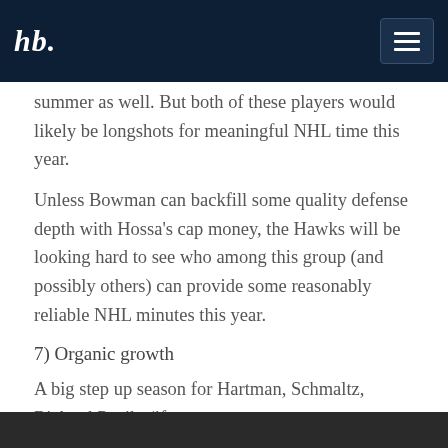hb. [logo and navigation bar]
summer as well. But both of these players would likely be longshots for meaningful NHL time this year.
Unless Bowman can backfill some quality defense depth with Hossa's cap money, the Hawks will be looking hard to see who among this group (and possibly others) can provide some reasonably reliable NHL minutes this year.
7) Organic growth
A big step up season for Hartman, Schmaltz, Richard Panik, (if